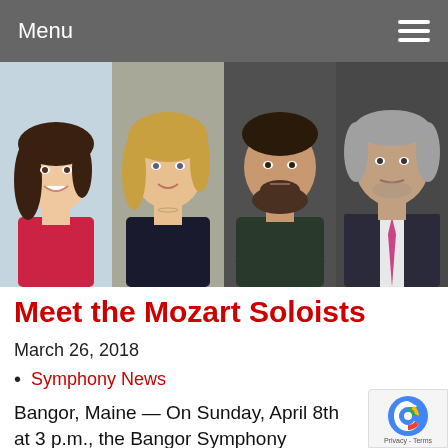Menu
[Figure (photo): Four professional headshots of Mozart soloists side by side: a young woman in red top with long dark wavy hair smiling, a blonde woman in dark top, a young man with beard in dark shirt, and an older man in suit with pink tie.]
Meet the Mozart Soloists
March 26, 2018
Symphony News
Bangor, Maine — On Sunday, April 8th at 3 p.m., the Bangor Symphony Orchestra w present a program featuring works by tw masters: Mozart and Beethoven. The